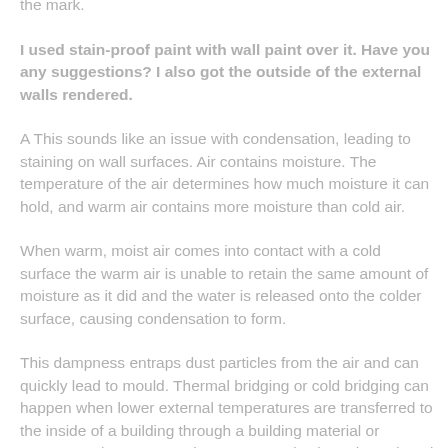had to paint over the marks every 12 months or so to cover the mark.
I used stain-proof paint with wall paint over it. Have you any suggestions? I also got the outside of the external walls rendered.
A This sounds like an issue with condensation, leading to staining on wall surfaces. Air contains moisture. The temperature of the air determines how much moisture it can hold, and warm air contains more moisture than cold air.
When warm, moist air comes into contact with a cold surface the warm air is unable to retain the same amount of moisture as it did and the water is released onto the colder surface, causing condensation to form.
This dampness entraps dust particles from the air and can quickly lead to mould. Thermal bridging or cold bridging can happen when lower external temperatures are transferred to the inside of a building through a building material or component by a process known as conduction. The reduced temperature can lead to